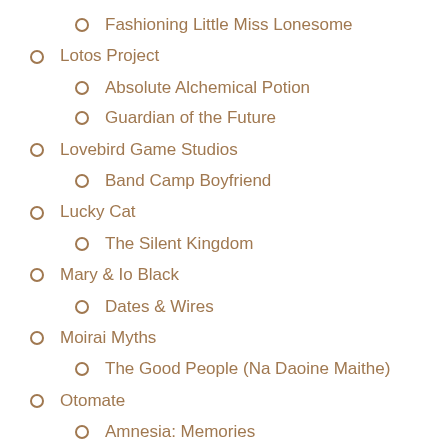Fashioning Little Miss Lonesome
Lotos Project
Absolute Alchemical Potion
Guardian of the Future
Lovebird Game Studios
Band Camp Boyfriend
Lucky Cat
The Silent Kingdom
Mary & Io Black
Dates & Wires
Moirai Myths
The Good People (Na Daoine Maithe)
Otomate
Amnesia: Memories